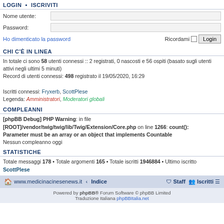LOGIN  •  ISCRIVITI
Nome utente:
Password:
Ho dimenticato la password    Ricordami  Login
CHI C'È IN LINEA
In totale ci sono 58 utenti connessi :: 2 registrati, 0 nascosti e 56 ospiti (basato sugli utenti attivi negli ultimi 5 minuti)
Record di utenti connessi: 498 registrato il 19/05/2020, 16:29

Iscritti connessi: Fryxerb, ScottPlese
Legenda: Amministratori, Moderatori globali
COMPLEANNI
[phpBB Debug] PHP Warning: in file [ROOT]/vendor/twig/twig/lib/Twig/Extension/Core.php on line 1266: count(): Parameter must be an array or an object that implements Countable
Nessun compleanno oggi
STATISTICHE
Totale messaggi 178 • Totale argomenti 165 • Totale iscritti 1946884 • Ultimo iscritto ScottPlese
www.medicinacinesenews.it  ‹ Indice   Staff  Iscritti
Powered by phpBB® Forum Software © phpBB Limited
Traduzione Italiana phpBBItalia.net